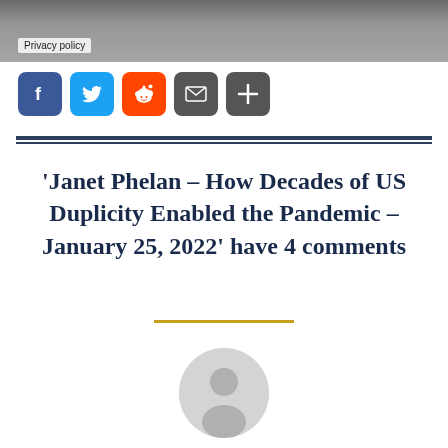[Figure (photo): Grayscale photo strip at top of page with a 'Privacy policy' label overlay]
[Figure (infographic): Social sharing buttons: Facebook (blue), Twitter (blue), Reddit (orange), Email (dark), More/Share (dark)]
'Janet Phelan – How Decades of US Duplicity Enabled the Pandemic – January 25, 2022' have 4 comments
[Figure (illustration): Generic user avatar — grey circle with a silhouette person icon]